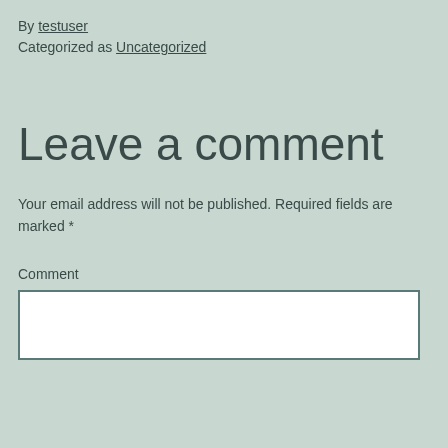By testuser
Categorized as Uncategorized
Leave a comment
Your email address will not be published. Required fields are marked *
Comment
[Figure (other): Empty comment text area input box with white background and dark teal border]